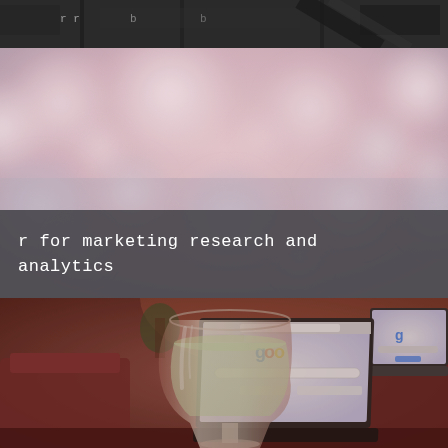[Figure (photo): Top strip: dark grainy architectural photo showing blurred chairs and furniture]
[Figure (photo): Bokeh background photo with blurred pink and grey circles of light on a muted rosy background]
r for marketing research and analytics
[Figure (photo): Bottom photo of a wine glass with white wine in foreground and an open laptop showing a Google search page in the background, warm reddish-brown tones]